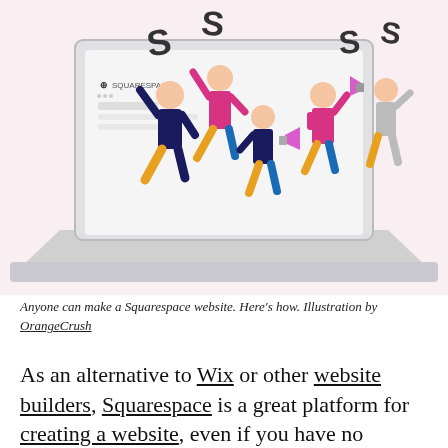[Figure (illustration): Colorful illustration on a pink background showing animated characters running out of a Squarespace-branded laptop screen, each holding large Squarespace logo symbols. Characters wear blue, pink, yellow, and gray clothing. One character holds a pink megaphone.]
Anyone can make a Squarespace website. Here's how. Illustration by OrangeCrush
As an alternative to Wix or other website builders, Squarespace is a great platform for creating a website, even if you have no previous experience. The WYSIWYG interface makes building a webpage as easy as